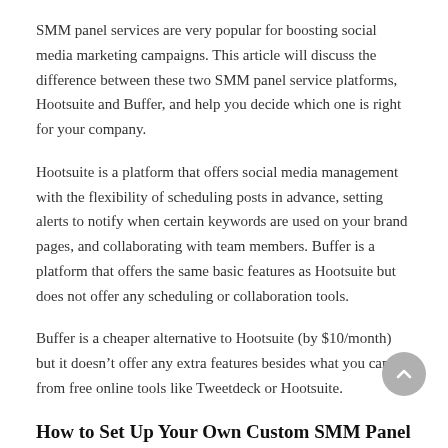SMM panel services are very popular for boosting social media marketing campaigns. This article will discuss the difference between these two SMM panel service platforms, Hootsuite and Buffer, and help you decide which one is right for your company.
Hootsuite is a platform that offers social media management with the flexibility of scheduling posts in advance, setting alerts to notify when certain keywords are used on your brand pages, and collaborating with team members. Buffer is a platform that offers the same basic features as Hootsuite but does not offer any scheduling or collaboration tools.
Buffer is a cheaper alternative to Hootsuite (by $10/month) but it doesn't offer any extra features besides what you can get from free online tools like Tweetdeck or Hootsuite.
How to Set Up Your Own Custom SMM Panel for Successful Marketing
The marketing world is changing, but that doesn't mean it has to be hard. If